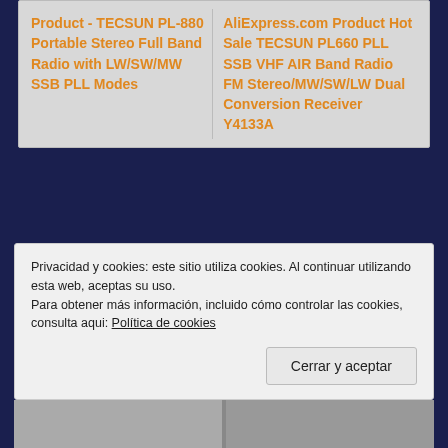Product - TECSUN PL-880 Portable Stereo Full Band Radio with LW/SW/MW SSB PLL Modes
AliExpress.com Product Hot Sale TECSUN PL660 PLL SSB VHF AIR Band Radio FM Stereo/MW/SW/LW Dual Conversion Receiver Y4133A
Privacidad y cookies: este sitio utiliza cookies. Al continuar utilizando esta web, aceptas su uso.
Para obtener más información, incluido cómo controlar las cookies, consulta aqui: Política de cookies